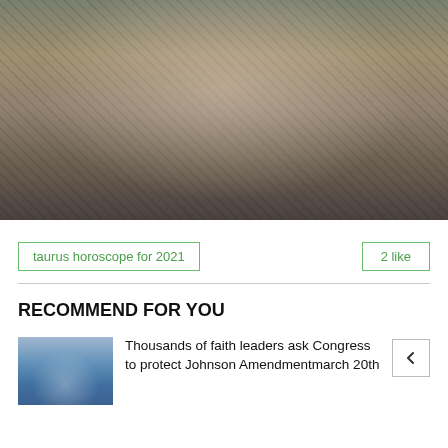[Figure (photo): A woman in a white I Love Miami t-shirt sorting through large piles of donated clothing and bags at what appears to be a relief distribution center.]
taurus horoscope for 2021
2 like
RECOMMEND FOR YOU
[Figure (photo): Thumbnail photo showing the US Capitol building.]
Thousands of faith leaders ask Congress to protect Johnson Amendmentmarch 20th